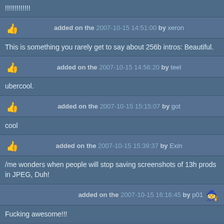!!!!!!!!!!!!!!
added on the 2007-10-15 14:51:00 by xeron
This is something you rarely get to say about 256b intros: Beautiful.
added on the 2007-10-15 14:56:20 by teel
ubercool.
added on the 2007-10-15 15:15:07 by got
cool
added on the 2007-10-15 15:39:37 by Exin
/me wonders when people will stop saving screenshots of 13h prods in JPEG, Duh!
added on the 2007-10-15 16:16:45 by p01
Fucking awesome!!!
added on the 2007-10-15 16:27:38 by #535
dunno what chakra this stimulates, but it's good :)